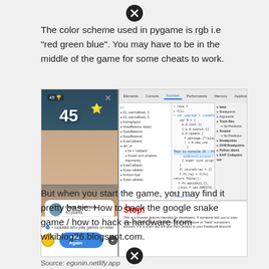[Figure (other): Close/X icon circle at top of page]
The color scheme used in pygame is rgb i.e "red green blue". You may have to be in the middle of the game for some cheats to work.
[Figure (screenshot): Split screenshot: left side shows a mobile game with score 45 and player card; right side shows browser developer tools with code and a Stop warning overlay]
Source: egonin.netlify.app
But when you start the game, you may find it pretty basic. How to hack the google snake game / how to hack a hardware from wikiblog26.blogspot.com.
[Figure (other): Close/X icon circle at bottom of page]